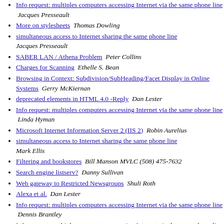Info request: multiples computers accessing Internet via the same phone line  Jacques Presseault
More on stylesheets  Thomas Dowling
simultaneous access to Internet sharing the same phone line  Jacques Presseault
SABER LAN / Athena Problem  Peter Collins
Charges for Scanning  Ethelle S. Bean
Browsing in Context: Subdivision/SubHeading/Facet Display in Online Systems  Gerry McKiernan
deprecated elements in HTML 4.0 -Reply  Dan Lester
Info request: multiples computers accessing Internet via the same phone line  Linda Hyman
Microsoft Internet Information Server 2 (IIS 2)  Robin Aurelius
simultaneous access to Internet sharing the same phone line  Mark Ellis
Filtering and bookstores  Bill Manson MVLC (508) 475-7632
Search engine listserv?  Danny Sullivan
Web gateway to Restricted Newsgroups  Shuli Roth
Alexa et al.  Dan Lester
Info request: multiples computers accessing Internet via the same phone line  Dennis Brantley
Info request: multiples computers accessing Internet via the same phone line  P or K Bary
Post II: multiples computers accessing Internet via the...